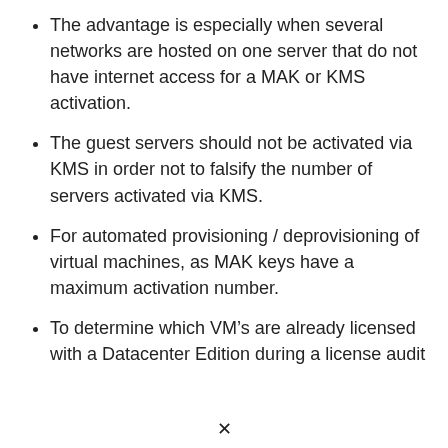The advantage is especially when several networks are hosted on one server that do not have internet access for a MAK or KMS activation.
The guest servers should not be activated via KMS in order not to falsify the number of servers activated via KMS.
For automated provisioning / deprovisioning of virtual machines, as MAK keys have a maximum activation number.
To determine which VM’s are already licensed with a Datacenter Edition during a license audit